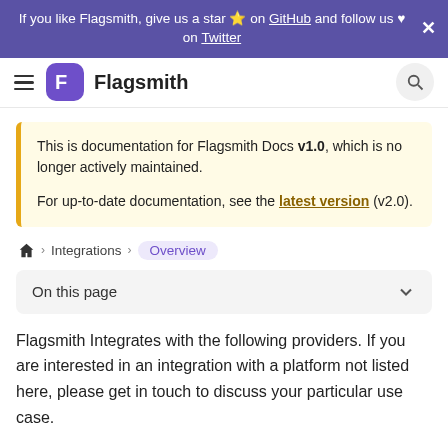If you like Flagsmith, give us a star ⭐ on GitHub and follow us ♥ on Twitter
[Figure (logo): Flagsmith navigation bar with hamburger menu, purple F logo, site name Flagsmith, and search button]
This is documentation for Flagsmith Docs v1.0, which is no longer actively maintained.

For up-to-date documentation, see the latest version (v2.0).
🏠 > Integrations > Overview
On this page
Flagsmith Integrates with the following providers. If you are interested in an integration with a platform not listed here, please get in touch to discuss your particular use case.